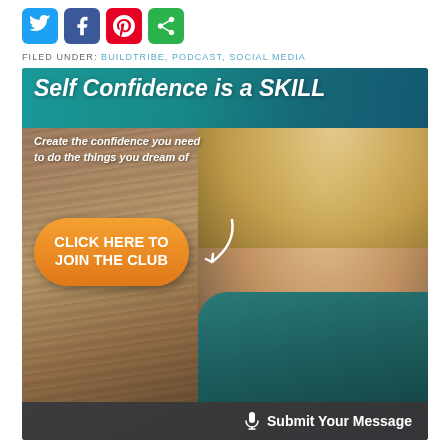[Figure (illustration): Social media share buttons: Twitter (blue bird), Facebook (blue f), Pinterest (red P), ShareThis (green circular arrow)]
FILED UNDER: BUILDTRIBE, PODCAST, SOCIAL MEDIA
[Figure (infographic): Promotional banner for 'Self Confidence is a SKILL' course. Teal header bar with white italic bold text reading 'Self Confidence is a SKILL'. Below: italic white text 'Create the confidence you need to do the things you dream of'. Orange rounded CTA button with white bold text 'CLICK HERE TO JOIN THE CLUB'. Background shows a smiling blonde woman in a teal off-shoulder top. Bottom dark bar with microphone icon and 'Submit Your Message' in white bold text.]